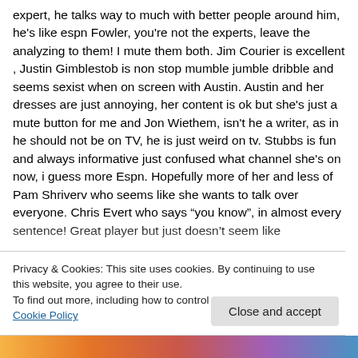expert, he talks way to much with better people around him, he's like espn Fowler, you're not the experts, leave the analyzing to them! I mute them both. Jim Courier is excellent , Justin Gimblestob is non stop mumble jumble dribble and seems sexist when on screen with Austin. Austin and her dresses are just annoying, her content is ok but she's just a mute button for me and Jon Wiethem, isn't he a writer, as in he should not be on TV, he is just weird on tv. Stubbs is fun and always informative just confused what channel she's on now, i guess more Espn. Hopefully more of her and less of Pam Shriverv who seems like she wants to talk over everyone. Chris Evert who says “you know”, in almost every sentence! Great player but just doesn’t seem like
Privacy & Cookies: This site uses cookies. By continuing to use this website, you agree to their use.
To find out more, including how to control cookies, see here: Cookie Policy
Close and accept